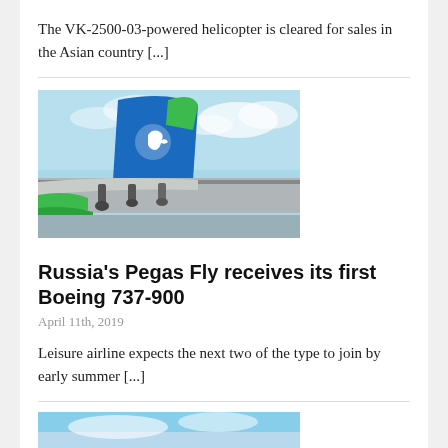The VK-2500-03-powered helicopter is cleared for sales in the Asian country [...]
[Figure (photo): Aircraft tail fin with blue and green Pegas Fly livery showing a white horse logo, with wing and sky visible]
Russia's Pegas Fly receives its first Boeing 737-900
April 11th, 2019
Leisure airline expects the next two of the type to join by early summer [...]
[Figure (photo): Partial view of aircraft in sky, bottom portion of page]